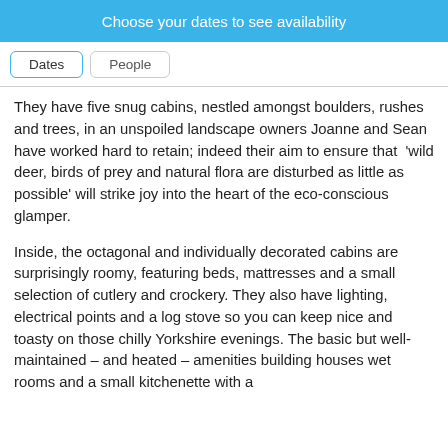Choose your dates to see availability
Dates   People
They have five snug cabins, nestled amongst boulders, rushes and trees, in an unspoiled landscape owners Joanne and Sean have worked hard to retain; indeed their aim to ensure that  'wild deer, birds of prey and natural flora are disturbed as little as possible' will strike joy into the heart of the eco-conscious glamper.
Inside, the octagonal and individually decorated cabins are surprisingly roomy, featuring beds, mattresses and a small selection of cutlery and crockery. They also have lighting, electrical points and a log stove so you can keep nice and toasty on those chilly Yorkshire evenings. The basic but well-maintained – and heated – amenities building houses wet rooms and a small kitchenette with a